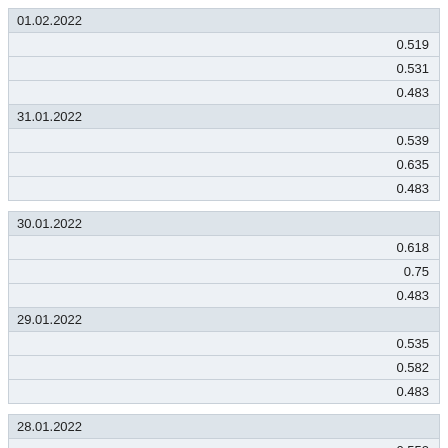| 01.02.2022 |
| 0.519 |
| 0.531 |
| 0.483 |
| 31.01.2022 |
| 0.539 |
| 0.635 |
| 0.483 |
| 30.01.2022 |
| 0.618 |
| 0.75 |
| 0.483 |
| 29.01.2022 |
| 0.535 |
| 0.582 |
| 0.483 |
| 28.01.2022 |
| 0.552 |